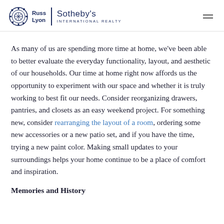Russ Lyon | Sotheby's International Realty
As many of us are spending more time at home, we've been able to better evaluate the everyday functionality, layout, and aesthetic of our households. Our time at home right now affords us the opportunity to experiment with our space and whether it is truly working to best fit our needs. Consider reorganizing drawers, pantries, and closets as an easy weekend project. For something new, consider rearranging the layout of a room, ordering some new accessories or a new patio set, and if you have the time, trying a new paint color. Making small updates to your surroundings helps your home continue to be a place of comfort and inspiration.
Memories and History